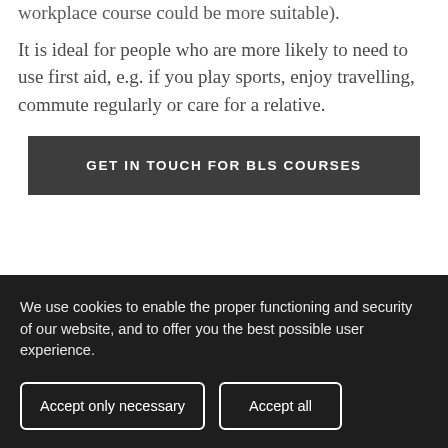workplace course could be more suitable).
It is ideal for people who are more likely to need to use first aid, e.g. if you play sports, enjoy travelling, commute regularly or care for a relative.
GET IN TOUCH FOR BLS COURSES
We use cookies to enable the proper functioning and security of our website, and to offer you the best possible user experience.
Accept only necessary
Accept all